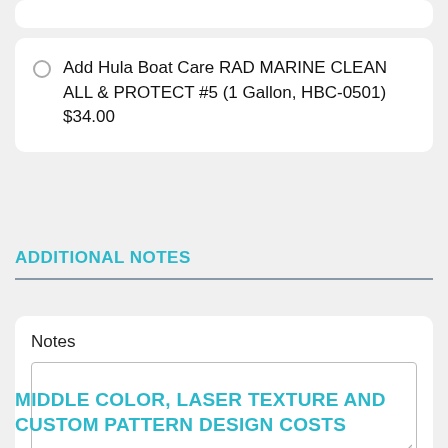Add Hula Boat Care RAD MARINE CLEAN ALL & PROTECT #5 (1 Gallon, HBC-0501) $34.00
ADDITIONAL NOTES
Notes
MIDDLE COLOR, LASER TEXTURE AND CUSTOM PATTERN DESIGN COSTS